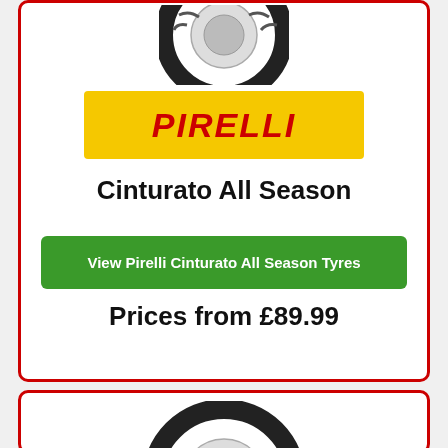[Figure (photo): Pirelli Cinturato All Season tyre viewed from the front, partially shown at top]
[Figure (logo): Pirelli logo: yellow background with red italic PIRELLI text]
Cinturato All Season
View Pirelli Cinturato All Season Tyres
Prices from £89.99
[Figure (photo): Pirelli all-season tyre viewed from front angle, partially shown at bottom of page]